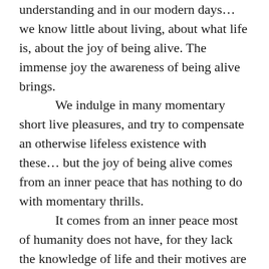understanding and in our modern days… we know little about living, about what life is, about the joy of being alive. The immense joy the awareness of being alive brings. We indulge in many momentary short live pleasures, and try to compensate an otherwise lifeless existence with these… but the joy of being alive comes from an inner peace that has nothing to do with momentary thrills. It comes from an inner peace most of humanity does not have, for they lack the knowledge of life and their motives are rooted in their desire for momentary pleasures, small thrills and selfish desires to possess things they can never hold